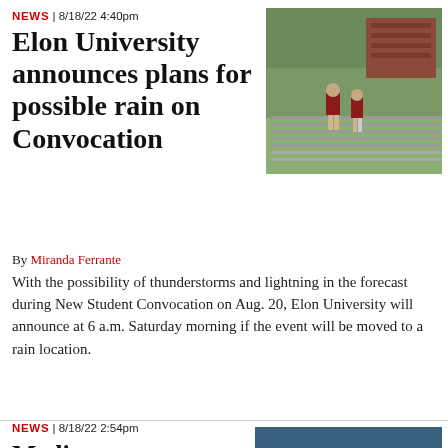NEWS | 8/18/22 4:40pm
Elon University announces plans for possible rain on Convocation
[Figure (photo): Two people in maroon shirts arranging chairs in rows on a grassy outdoor area with trees and a brick building in the background.]
By Miranda Ferrante
With the possibility of thunderstorms and lightning in the forecast during New Student Convocation on Aug. 20, Elon University will announce at 6 a.m. Saturday morning if the event will be moved to a rain location.
NEWS | 8/18/22 2:54pm
Mediterranean Deli closes permanently
[Figure (photo): Interior of Mediterranean Deli showing glass display cases and counter area, appearing empty and closed.]
By Miranda Ferrante
Mediterranean Deli, in downtown Elon, according to...